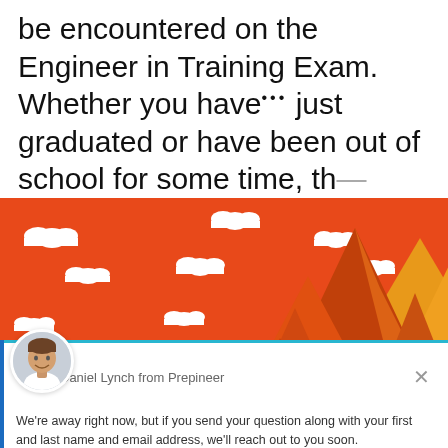be encountered on the Engineer in Training Exam. Whether you have just graduated or have been out of school for some time, the...
[Figure (illustration): Orange background banner with white clouds and stylized mountain peaks in orange, yellow and amber tones on the right side — decorative illustration for Prepineer website.]
Daniel Lynch from Prepineer
We're away right now, but if you send your question along with your first and last name and email address, we'll reach out to you soon.
Reply to Daniel Lynch